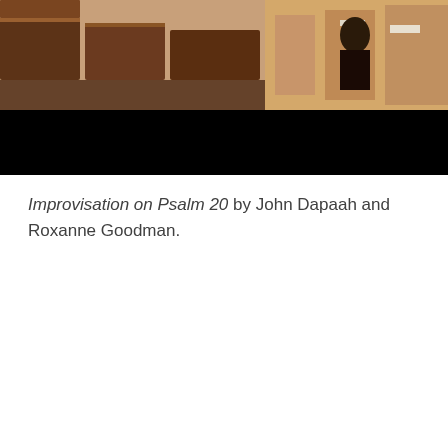[Figure (photo): Top portion of a photo showing church pews and interior, with a black bar below it]
Improvisation on Psalm 20 by John Dapaah and Roxanne Goodman.
[Figure (screenshot): YouTube video player showing 'Jazz Vespers with Peter Woods and ...' with a teal avatar circle showing 'E', and a three-dot menu icon. The video area is black.]